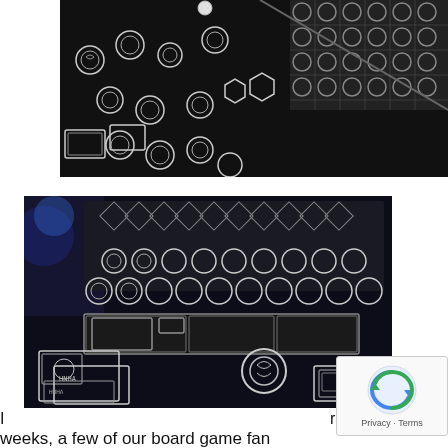[Figure (photo): Top-down angled photograph of laser-cut acrylic board game pieces and tokens on a dark surface. Various circular tokens with etched spiral and gear designs, hexagonal pieces, rectangular cards, and a grid of circular pieces visible in the upper right corner.]
[Figure (photo): Angled photograph of laser-cut acrylic board game components on a dark surface with blue lighting. Circular tokens with etched designs, rectangular card holders, and various game pieces arranged on what appears to be a game board.]
I rece
weeks, a few of our board game fan